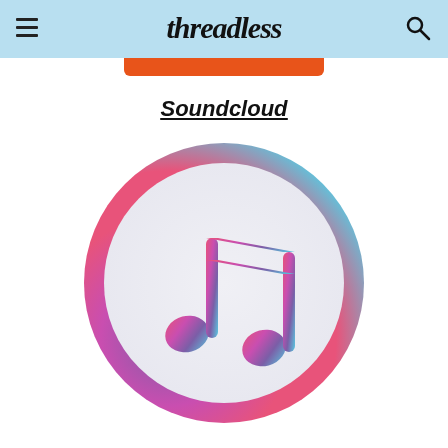Threadless
Soundcloud
[Figure (logo): iTunes music note logo — a circle with gradient border from purple/blue at bottom-left to red/pink at top-right, white interior, with a musical eighth note pair (beamed notes) in pink-to-blue gradient]